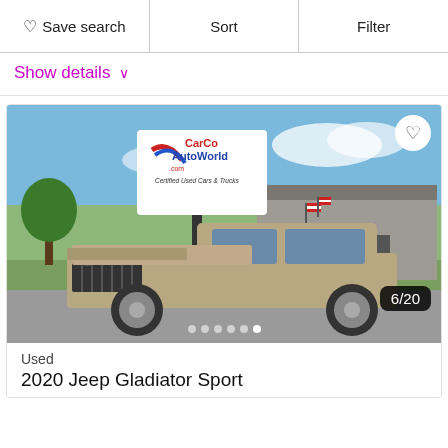Save search | Sort | Filter
Show details ∨
[Figure (photo): A tan/beige 2020 Jeep Gladiator Sport pickup truck parked in a CarCo AutoWorld dealership lot. A dealership sign reading 'CarCo AutoWorld .com Certified Used Cars & Trucks' is visible in the background, along with dealership buildings and trees. The truck has American flags. Image counter shows 6/20.]
Used
2020 Jeep Gladiator Sport